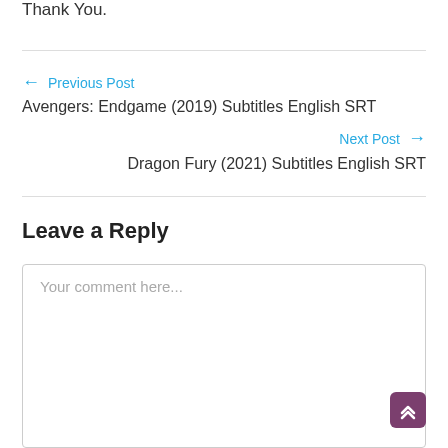Thank You.
← Previous Post
Avengers: Endgame (2019) Subtitles English SRT
Next Post →
Dragon Fury (2021) Subtitles English SRT
Leave a Reply
Your comment here...